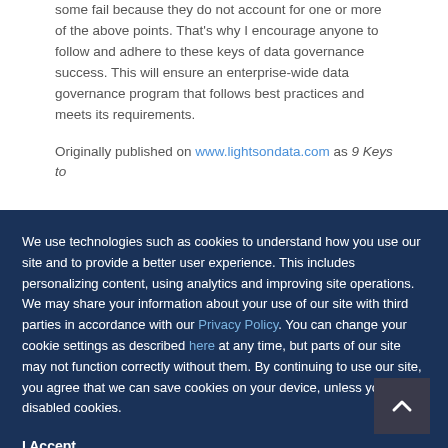some fail because they do not account for one or more of the above points. That's why I encourage anyone to follow and adhere to these keys of data governance success. This will ensure an enterprise-wide data governance program that follows best practices and meets its requirements.
Originally published on www.lightsondata.com as 9 Keys to
We use technologies such as cookies to understand how you use our site and to provide a better user experience. This includes personalizing content, using analytics and improving site operations. We may share your information about your use of our site with third parties in accordance with our Privacy Policy. You can change your cookie settings as described here at any time, but parts of our site may not function correctly without them. By continuing to use our site, you agree that we can save cookies on your device, unless you have disabled cookies.
I Accept